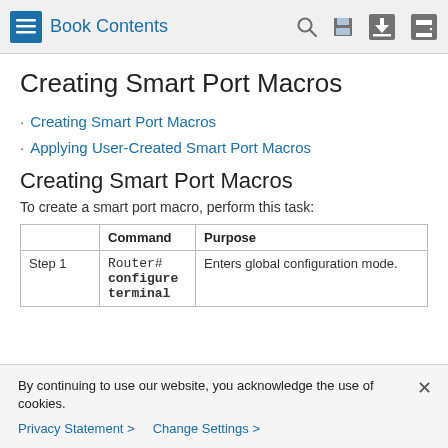Book Contents
Creating Smart Port Macros
Creating Smart Port Macros
Applying User-Created Smart Port Macros
Creating Smart Port Macros
To create a smart port macro, perform this task:
|  | Command | Purpose |
| --- | --- | --- |
| Step 1 | Router#
configure
terminal | Enters global configuration mode. |
By continuing to use our website, you acknowledge the use of cookies.
Privacy Statement > Change Settings >